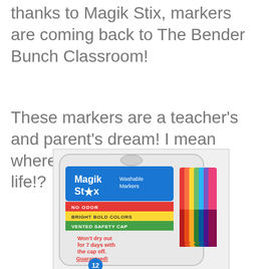thanks to Magik Stix, markers are coming back to The Bender Bunch Classroom!
These markers are a teacher's and parent's dream! I mean where have you been all my life!?
[Figure (photo): Magik Stix Washable Markers product package showing colorful markers in a clear plastic case with blue and red branding. Labels read: NO ODOR, BRIGHT BOLD COLORS, VENTED SAFETY CAP. Text says Won't dry out for 7 days with the cap off. Guaranteed! 12 markers.]